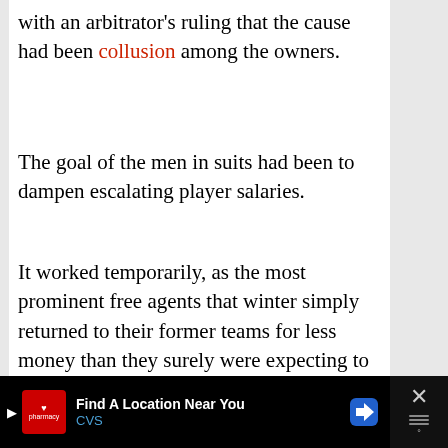with an arbitrator's ruling that the cause had been collusion among the owners.
The goal of the men in suits had been to dampen escalating player salaries.
It worked temporarily, as the most prominent free agents that winter simply returned to their former teams for less money than they surely were expecting to see from a romp through the FA ranks.
But for older guys like Al Oliver?
At least some of them found no takers at all.
[Figure (other): CVS Pharmacy advertisement banner: 'Find A Location Near You' with CVS logo and navigation arrow icon, dark background with close button]